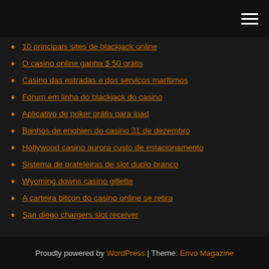[navigation bar with hamburger menu]
10 principais sites de blackjack online
O casino online ganha $ 50 grátis
Casino das estradas e dos serviços marítimos
Fórum em linha do blackjack do casino
Aplicativo de poker grátis para ipad
Banhos de enghien do casino 31 de dezembro
Hollywood casino aurora custo de estacionamento
Sistema de prateleiras de slot duplo branco
Wyoming downs casino gillette
A carteira bitcon do casino online se retira
San diego chargers slot receiver
Proudly powered by WordPress | Theme: Envo Magazine